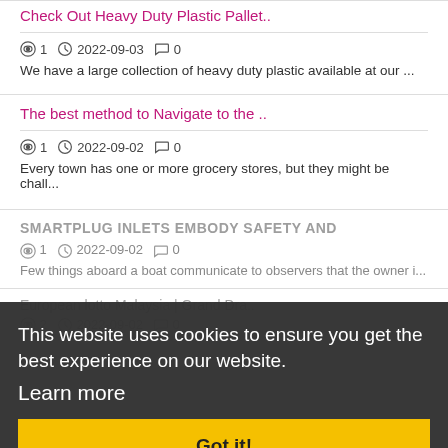Check Out Heavy Duty Plastic Pallet..
1  2022-09-03  0
We have a large collection of heavy duty plastic available at our ...
The best method to Navigate to the ..
1  2022-09-02  0
Every town has one or more grocery stores, but they might be chall...
SMARTPLUG INLETS EMBODY SAFETY AND
1  2022-09-02  0
Few things aboard a boat communicate to observers that the owner i...
European lotto Malaysia | Grand Dra..
2  2022-09-02  0
This website uses cookies to ensure you get the best experience on our website.
Learn more
Got it!